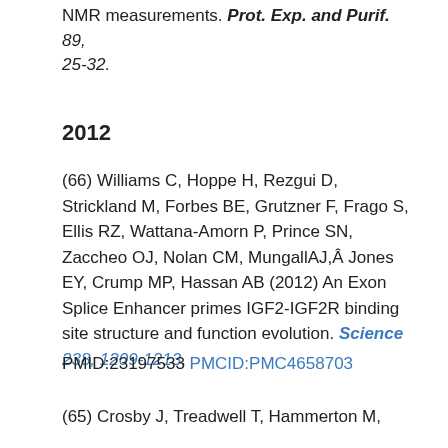NMR measurements. Prot. Exp. and Purif. 89, 25-32.
2012
(66) Williams C, Hoppe H, Rezgui D, Strickland M, Forbes BE, Grutzner F, Frago S, Ellis RZ, Wattana-Amorn P, Prince SN, Zaccheo OJ, Nolan CM, MungallAJ,Â Jones EY, Crump MP, Hassan AB (2012) An Exon Splice Enhancer primes IGF2-IGF2R binding site structure and function evolution. Science 238, 1209-1213.
PMID:23197533 PMCID:PMC4658703
(65) Crosby J, Treadwell T, Hammerton M,